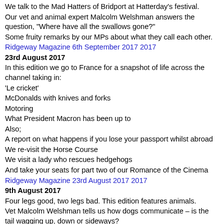We talk to the Mad Hatters of Bridport at Hatterday's festival.
Our vet and animal expert Malcolm Welshman answers the question, "Where have all the swallows gone?"
Some fruity remarks by our MPs about what they call each other.
Ridgeway Magazine 6th September 2017 2017
23rd August 2017
In this edition we go to France for a snapshot of life across the channel taking in:
'Le cricket'
McDonalds with knives and forks
Motoring
What President Macron has been up to
Also;
A report on what happens if you lose your passport whilst abroad
We re-visit the Horse Course
We visit a lady who rescues hedgehogs
And take your seats for part two of our Romance of the Cinema
Ridgeway Magazine 23rd August 2017 2017
9th August 2017
Four legs good, two legs bad. This edition features animals.
Vet Malcolm Welshman tells us how dogs communicate – is the tail wagging up, down or sideways?
A dog whisperer (yes really!) talks to a mixed-up dog about its unhappy past.
We visit the Horse Course where mixed-up adults and children find that horses can change their moods.
The pig is man's best friend….discuss.
Those clever children from Damers First School are still selling their prizewinning 'Spic and Span' product. We visit Poundbury Farmer's Market and meet them again.
Ridgeway Magazine 9th August 2017 2017